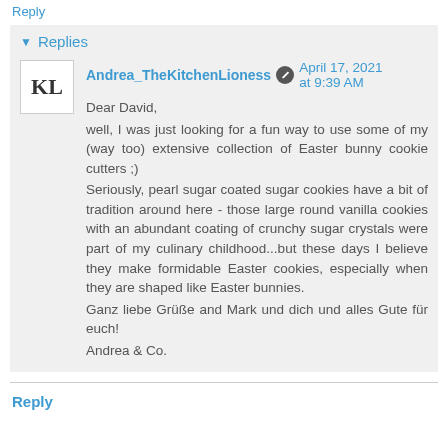Reply
Replies
Andrea_TheKitchenLioness  April 17, 2021 at 9:39 AM
Dear David,
well, I was just looking for a fun way to use some of my (way too) extensive collection of Easter bunny cookie cutters ;)
Seriously, pearl sugar coated sugar cookies have a bit of tradition around here - those large round vanilla cookies with an abundant coating of crunchy sugar crystals were part of my culinary childhood...but these days I believe they make formidable Easter cookies, especially when they are shaped like Easter bunnies.
Ganz liebe Grüße and Mark und dich und alles Gute für euch!
Andrea & Co.
Reply